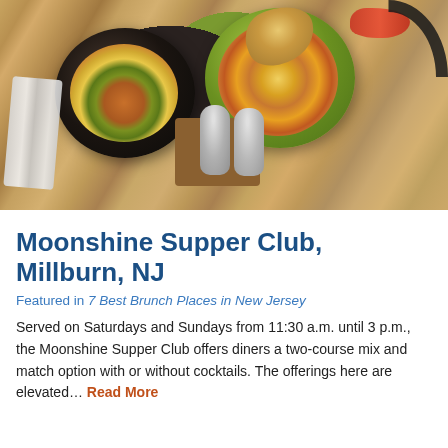[Figure (photo): Overhead shot of brunch food on a wooden table: a black skillet with eggs and greens, a green plate with scrambled eggs, sausage, and toast, salt and pepper shakers, and cutlery wrapped in a napkin, with a chair visible in the top right.]
Moonshine Supper Club, Millburn, NJ
Featured in 7 Best Brunch Places in New Jersey
Served on Saturdays and Sundays from 11:30 a.m. until 3 p.m., the Moonshine Supper Club offers diners a two-course mix and match option with or without cocktails. The offerings here are elevated… Read More